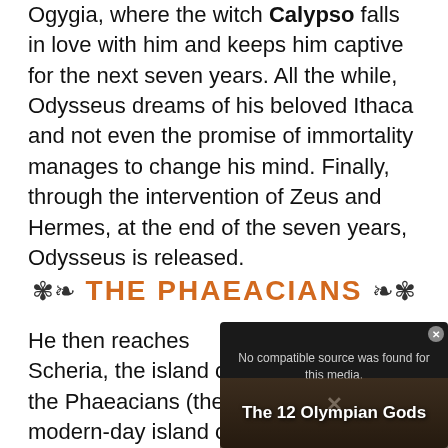Ogygia, where the witch Calypso falls in love with him and keeps him captive for the next seven years. All the while, Odysseus dreams of his beloved Ithaca and not even the promise of immortality manages to change his mind. Finally, through the intervention of Zeus and Hermes, at the end of the seven years, Odysseus is released.
THE PHAEACIANS
He then reaches Scheria, the island of the Phaeacians (the modern-day island of Corfu). There, during a feast, Odysseus recounts his awe-inspiring story. Happy to have had the honor
[Figure (screenshot): Video player overlay showing 'No compatible source was found for this media.' message with a close button (x), an X dismiss button, and a thumbnail showing 'The 12 Olympian Gods' text over a classical painting background.]